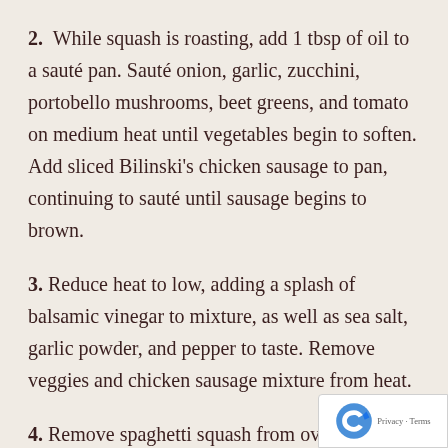2. While squash is roasting, add 1 tbsp of oil to a sauté pan. Sauté onion, garlic, zucchini, portobello mushrooms, beet greens, and tomato on medium heat until vegetables begin to soften. Add sliced Bilinski's chicken sausage to pan, continuing to sauté until sausage begins to brown.
3. Reduce heat to low, adding a splash of balsamic vinegar to mixture, as well as sea salt, garlic powder, and pepper to taste. Remove veggies and chicken sausage mixture from heat.
4. Remove spaghetti squash from oven. Usin…